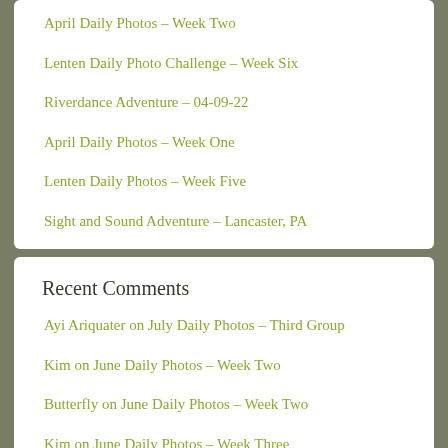April Daily Photos – Week Two
Lenten Daily Photo Challenge – Week Six
Riverdance Adventure – 04-09-22
April Daily Photos – Week One
Lenten Daily Photos – Week Five
Sight and Sound Adventure – Lancaster, PA
Recent Comments
Ayi Ariquater on July Daily Photos – Third Group
Kim on June Daily Photos – Week Two
Butterfly on June Daily Photos – Week Two
Kim on June Daily Photos – Week Three